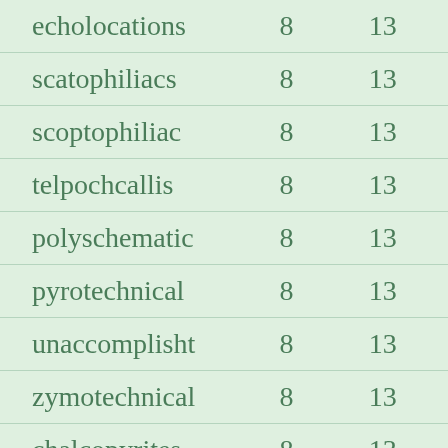| echolocations | 8 | 13 |
| scatophiliacs | 8 | 13 |
| scoptophiliac | 8 | 13 |
| telpochcallis | 8 | 13 |
| polyschematic | 8 | 13 |
| pyrotechnical | 8 | 13 |
| unaccomplisht | 8 | 13 |
| zymotechnical | 8 | 13 |
| chalcopyrites | 8 | 13 |
| hydrocalcites | 8 | 13 |